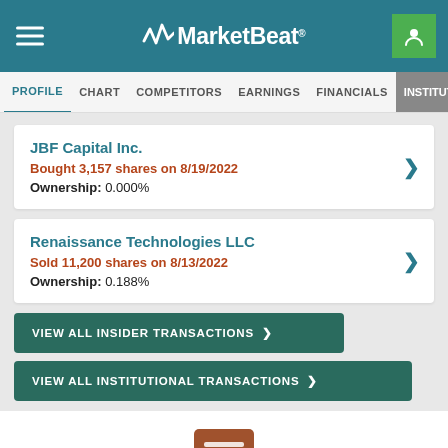MarketBeat
PROFILE  CHART  COMPETITORS  EARNINGS  FINANCIALS  INSTITUTIONAL OW
JBF Capital Inc.
Bought 3,157 shares on 8/19/2022
Ownership: 0.000%
Renaissance Technologies LLC
Sold 11,200 shares on 8/13/2022
Ownership: 0.188%
VIEW ALL INSIDER TRANSACTIONS >
VIEW ALL INSTITUTIONAL TRANSACTIONS >
[Figure (illustration): Chat bubble icon at bottom of page]